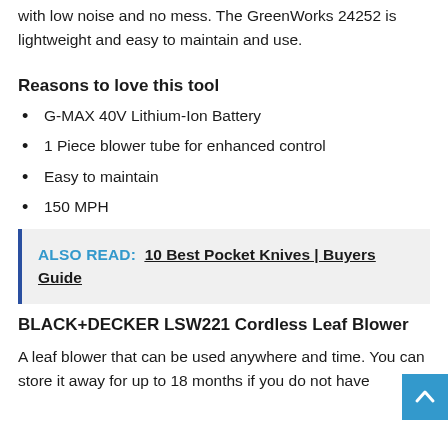with low noise and no mess. The GreenWorks 24252 is lightweight and easy to maintain and use.
Reasons to love this tool
G-MAX 40V Lithium-Ion Battery
1 Piece blower tube for enhanced control
Easy to maintain
150 MPH
ALSO READ:  10 Best Pocket Knives | Buyers Guide
BLACK+DECKER LSW221 Cordless Leaf Blower
A leaf blower that can be used anywhere and time. You can store it away for up to 18 months if you do not have